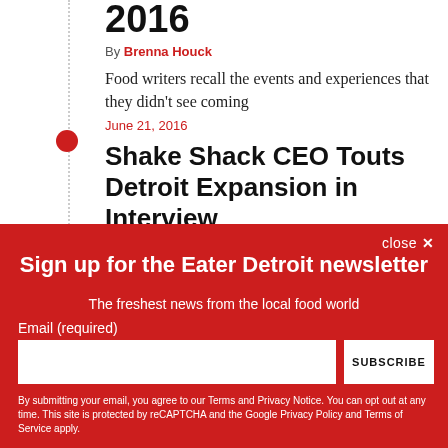2016
By Brenna Houck
Food writers recall the events and experiences that they didn't see coming
June 21, 2016
Shake Shack CEO Touts Detroit Expansion in Interview
close ×
Sign up for the Eater Detroit newsletter
The freshest news from the local food world
Email (required)
SUBSCRIBE
By submitting your email, you agree to our Terms and Privacy Notice. You can opt out at any time. This site is protected by reCAPTCHA and the Google Privacy Policy and Terms of Service apply.